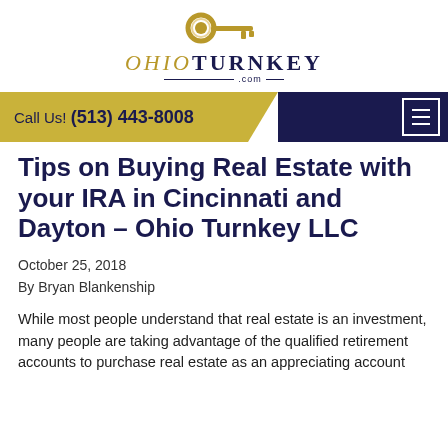[Figure (logo): Ohio Turnkey LLC logo with gold key icon and company name in gold/navy serif font with .com underline]
Call Us! (513) 443-8008
Tips on Buying Real Estate with your IRA in Cincinnati and Dayton – Ohio Turnkey LLC
October 25, 2018
By Bryan Blankenship
While most people understand that real estate is an investment, many people are taking advantage of the qualified retirement accounts to purchase real estate as an appreciating account...